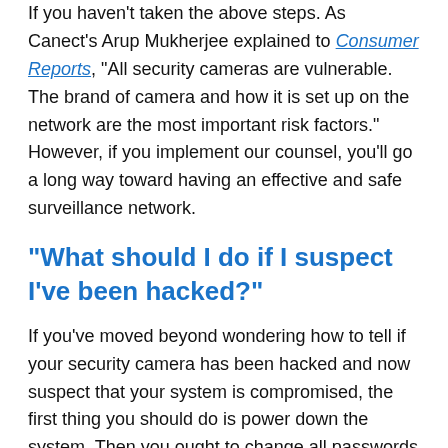If you haven't taken the above steps. As Canect's Arup Mukherjee explained to Consumer Reports, "All security cameras are vulnerable. The brand of camera and how it is set up on the network are the most important risk factors." However, if you implement our counsel, you'll go a long way toward having an effective and safe surveillance network.
“What should I do if I suspect I’ve been hacked?”
If you've moved beyond wondering how to tell if your security camera has been hacked and now suspect that your system is compromised, the first thing you should do is power down the system. Then you ought to change all passwords and install all manufacturer-provided security updates.
“Why are surveillance systems